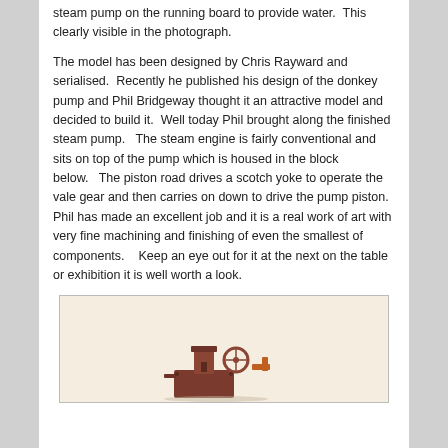steam pump on the running board to provide water.  This clearly visible in the photograph.
The model has been designed by Chris Rayward and serialised.  Recently he published his design of the donkey pump and Phil Bridgeway thought it an attractive model and decided to build it.  Well today Phil brought along the finished steam pump.   The steam engine is fairly conventional and sits on top of the pump which is housed in the block below.   The piston road drives a scotch yoke to operate the vale gear and then carries on down to drive the pump piston.  Phil has made an excellent job and it is a real work of art with very fine machining and finishing of even the smallest of components.   Keep an eye out for it at the next on the table or exhibition it is well worth a look.
[Figure (photo): Photograph of the finished steam pump model, showing the engine on top of the pump block, partially visible at the bottom of the page.]